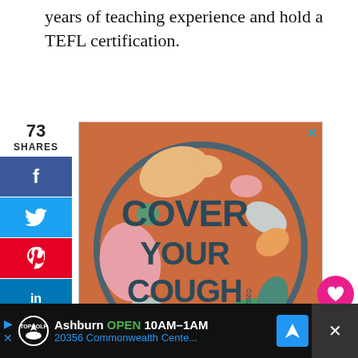years of teaching experience and hold a TEFL certification.
[Figure (illustration): Social sharing sidebar with Facebook, Twitter, Pinterest, LinkedIn, Email, and Print buttons. Shows 73 shares count.]
[Figure (illustration): Cover Your Cough advertisement on orange background with circular design and decorative leaf/blob shapes. Text reads 'COVER YOUR COUGH'. Copyright 2020 Choisie Tamms.]
[Figure (illustration): Right side engagement buttons: heart/like button showing 75, share button. What's Next section showing Travel Hacking 101: How I...]
[Figure (screenshot): Bottom advertisement for TopGolf Ashburn. Shows OPEN 10AM-1AM, 20356 Commonwealth Cente...]